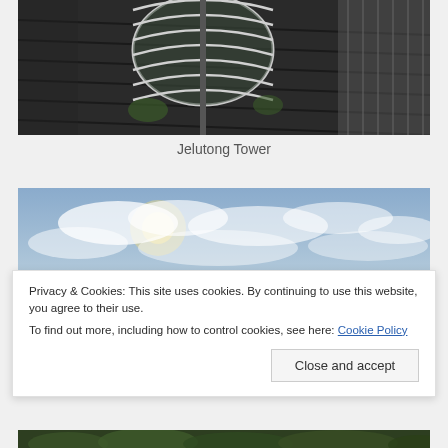[Figure (photo): Photo of Jelutong Tower deck with circular metal railing structure on dark wooden planks]
Jelutong Tower
[Figure (photo): Photo of cloudy sky with sun partially visible through clouds]
Privacy & Cookies: This site uses cookies. By continuing to use this website, you agree to their use.
To find out more, including how to control cookies, see here: Cookie Policy
Close and accept
[Figure (photo): Photo of green treetops/forest canopy from above]